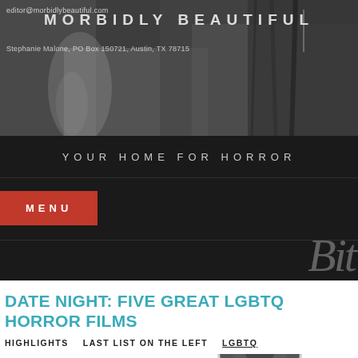[Figure (photo): Black and white horror-themed header image with decorative elements, feathers and textured bark. Overlaid with site name 'MORBIDLY BEAUTIFUL' and contact info.]
editor@morbidlybeautiful.com  MORBIDLY BEAUTIFUL  Stephanie Malone, PO Box 150721, Austin, TX 78715
YOUR HOME FOR HORROR
MENU
[Figure (logo): Partial decorative 'Bit' text logo in serif italic font, light gray on dark background]
DATE NIGHT: FIVE GREAT LGBTQ HORROR FILMS
HIGHLIGHTS    LAST LIST ON THE LEFT    LGBTQ
[Figure (photo): Partial circular profile or article image visible at bottom right of page, black and white]